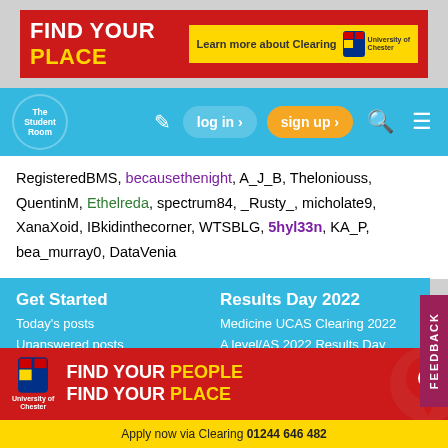[Figure (screenshot): University of Chester advertisement banner: red background with 'FIND YOUR PLACE' text and 'Learn more about Clearing' button]
[Figure (screenshot): The Student Room navigation bar with logo, edit icon, log in, sign up, search and menu buttons on blue background]
RegisteredBMS, becausethenight, A_J_B, Theloniouss, QuentinM, Ethelreda, spectrum84, _Rusty_, micholate9, XanaXoid, IBkidinthecorner, WTSBLG, 5hyl33n, KA_P, bea_murray0, DataVenia
Get Started
Today's posts
Unanswered posts
Get Started
Today's posts
Unanswered posts
Results Day 2022
Medicine UCAS Clearing 2022
A level/AS 2022 Results Day Countdown
UCAT (formerly UKCAT) 2023 entry megathread
Free food on A-level / BTEC /
[Figure (screenshot): University of Chester advertisement: red background with 'FIND YOUR PEOPLE FIND YOUR PLACE' and Chester logo, location pin graphic, yellow bar with phone number 01244 646 482]